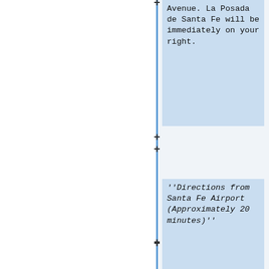Avenue. La Posada de Santa Fe will be immediately on your right.
''Directions from Santa Fe Airport (Approximately 20 minutes)''
Exit the airport and turn right onto Airport Rd.
At the first light, turn left onto Relief Route 599 north.
Travel for approximately 10 minutes until the Santa Fe exit. Take